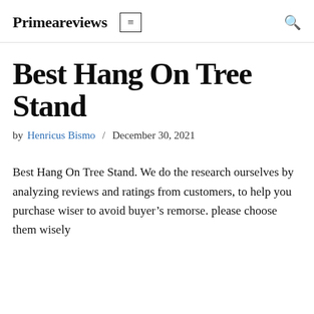Primeareviews
Best Hang On Tree Stand
by Henricus Bismo / December 30, 2021
Best Hang On Tree Stand. We do the research ourselves by analyzing reviews and ratings from customers, to help you purchase wiser to avoid buyer’s remorse. please choose them wisely